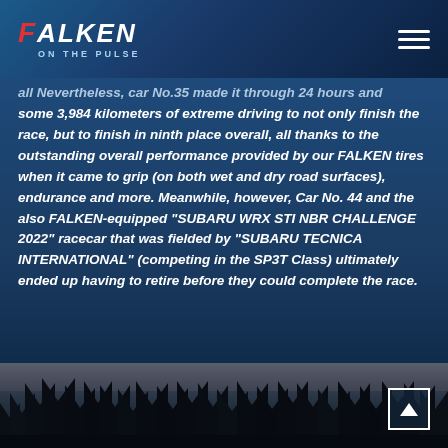FALKEN ON THE PULSE
all Nevertheless, car No.35 made it through 24 hours and some 3,984 kilometers of extreme driving to not only finish the race, but to finish in ninth place overall, all thanks to the outstanding overall performance provided by our FALKEN tires when it came to grip (on both wet and dry road surfaces), endurance and more. Meanwhile, however, Car No. 44 and the also FALKEN-equipped “SUBARU WRX STI NBR CHALLENGE 2022” racecar that was fielded by “SUBARU TECNICA INTERNATIONAL” (competing in the SP3T Class) ultimately ended up having to retire before they could complete the race.
[Figure (photo): Dark photo showing tree silhouettes against a twilight/dusk sky, appears to be at a racing circuit]